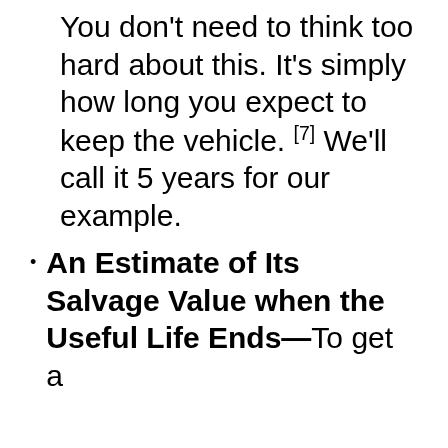You don't need to think too hard about this. It's simply how long you expect to keep the vehicle. [7] We'll call it 5 years for our example.
An Estimate of Its Salvage Value when the Useful Life Ends—To get a